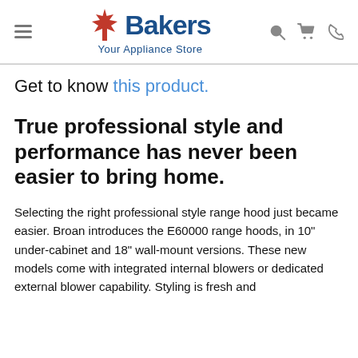Bakers Your Appliance Store
Get to know this product.
True professional style and performance has never been easier to bring home.
Selecting the right professional style range hood just became easier. Broan introduces the E60000 range hoods, in 10" under-cabinet and 18" wall-mount versions. These new models come with integrated internal blowers or dedicated external blower capability. Styling is fresh and contemporary designed to easily complement a modern kitchen.